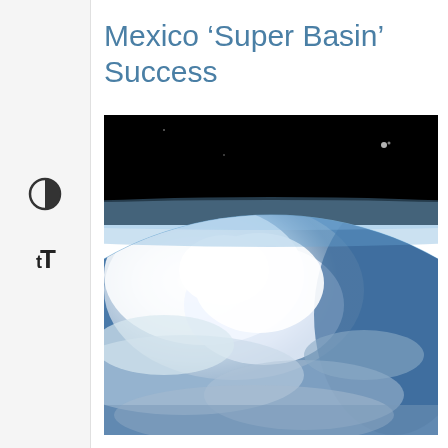Mexico ‘Super Basin’ Success
[Figure (photo): Aerial/satellite view of Earth from space showing Mexico and Gulf of Mexico region, with cloud formations, blue ocean waters, and the curvature of the Earth visible against the black of space.]